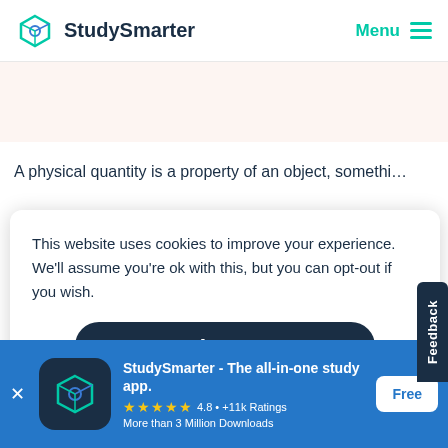StudySmarter   Menu
A physical quantity is a property of an object, somethi…
This website uses cookies to improve your experience. We'll assume you're ok with this, but you can opt-out if you wish.
Accept
Feedback
StudySmarter - The all-in-one study app.
★★★★★ 4.8 • +11k Ratings
More than 3 Million Downloads
Free